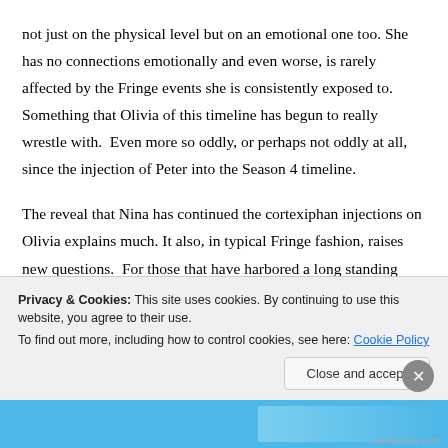not just on the physical level but on an emotional one too. She has no connections emotionally and even worse, is rarely affected by the Fringe events she is consistently exposed to.   Something that Olivia of this timeline has begun to really wrestle with.  Even more so oddly, or perhaps not oddly at all, since the injection of Peter into the Season 4 timeline.
The reveal that Nina has continued the cortexiphan injections on Olivia explains much. It also, in typical Fringe fashion, raises new questions.  For those that have harbored a long standing distrust of
Privacy & Cookies: This site uses cookies. By continuing to use this website, you agree to their use.
To find out more, including how to control cookies, see here: Cookie Policy
Close and accept